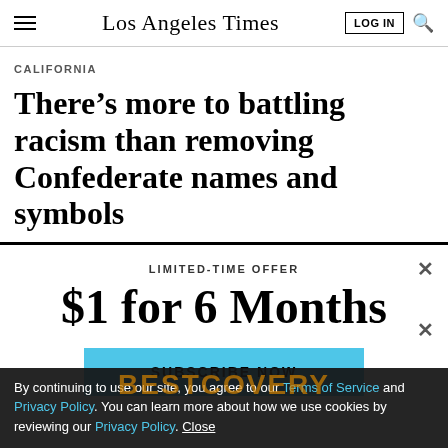Los Angeles Times
CALIFORNIA
There’s more to battling racism than removing Confederate names and symbols
LIMITED-TIME OFFER
$1 for 6 Months
SUBSCRIBE NOW
By continuing to use our site, you agree to our Terms of Service and Privacy Policy. You can learn more about how we use cookies by reviewing our Privacy Policy. Close